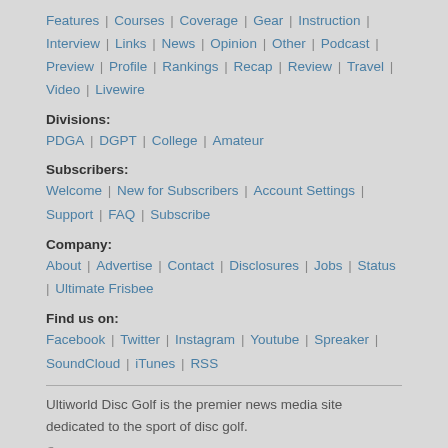Features | Courses | Coverage | Gear | Instruction | Interview | Links | News | Opinion | Other | Podcast | Preview | Profile | Rankings | Recap | Review | Travel | Video | Livewire
Divisions:
PDGA | DGPT | College | Amateur
Subscribers:
Welcome | New for Subscribers | Account Settings | Support | FAQ | Subscribe
Company:
About | Advertise | Contact | Disclosures | Jobs | Status | Ultimate Frisbee
Find us on:
Facebook | Twitter | Instagram | Youtube | Spreaker | SoundCloud | iTunes | RSS
Ultiworld Disc Golf is the premier news media site dedicated to the sport of disc golf.
© 2022 Ultiworld. All rights reserved. Lay out.